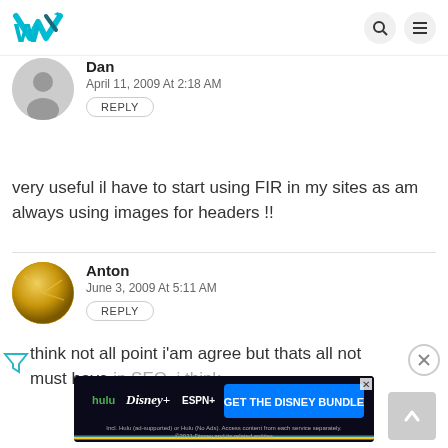W (logo) | search icon | menu icon
Dan
April 11, 2009 At 2:18 AM
REPLY
very useful il have to start using FIR in my sites as am always using images for headers !!
Anton
June 3, 2009 At 5:11 AM
REPLY
think not all point i'am agree but thats all not must have in SEO, i think.
[Figure (screenshot): Disney Bundle advertisement banner with Hulu, Disney+, ESPN+ logos and 'GET THE DISNEY BUNDLE' button]